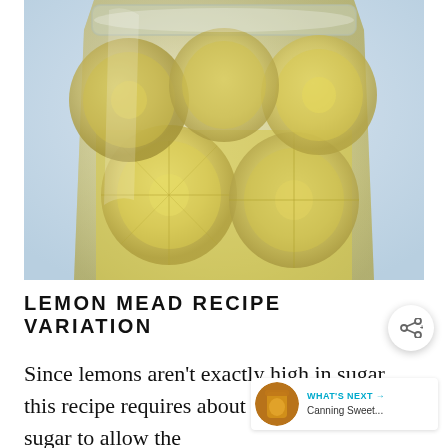[Figure (photo): Close-up photo of a glass mason jar filled with lemon slices submerged in a pale golden liquid (mead). The lemons are translucent and tightly packed near the top of the jar.]
LEMON MEAD RECIPE VARIATION
Since lemons aren't exactly high in sugar, this recipe requires about 3 pounds of added sugar to allow the